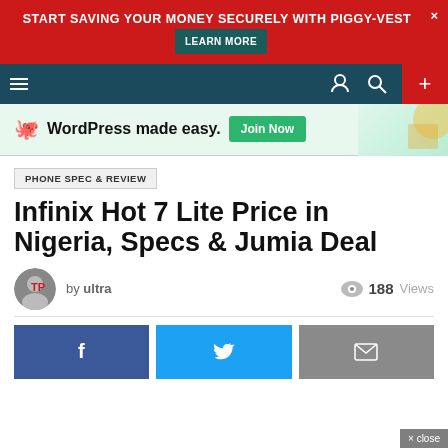START SAVING YOUR MONEY SECURELY WITH PIGGY-VEST  LEARN MORE
[Figure (screenshot): Navigation bar with hamburger menu, user icon, search icon on dark teal background, and red plus button on right]
[Figure (screenshot): WordPress made easy. Join Now banner with octopus logo and illustrated figure]
PHONE SPEC & REVIEW
Infinix Hot 7 Lite Price in Nigeria, Specs & Jumia Deal
by ultra  188 Views
[Figure (screenshot): Social share buttons: Facebook (blue), Twitter (cyan), Email (gray)]